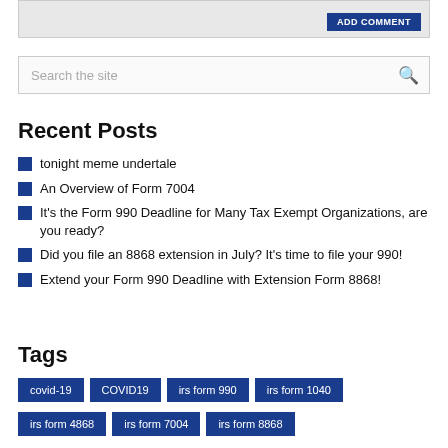[Figure (screenshot): Top grey box with ADD COMMENT button in dark blue]
Search the site
Recent Posts
tonight meme undertale
An Overview of Form 7004
It's the Form 990 Deadline for Many Tax Exempt Organizations, are you ready?
Did you file an 8868 extension in July? It's time to file your 990!
Extend your Form 990 Deadline with Extension Form 8868!
Tags
covid-19  COVID19  irs form 990  irs form 1040  irs form 4868  irs form 7004  irs form 8868